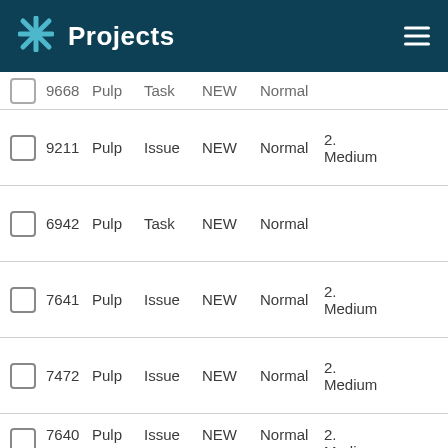Projects
|  | ID | Project | Type | Status | Priority | Extra |
| --- | --- | --- | --- | --- | --- | --- |
|  | 9668 | Pulp | Task | NEW | Normal |  |
|  | 9211 | Pulp | Issue | NEW | Normal | 2. Medium |
|  | 6942 | Pulp | Task | NEW | Normal |  |
|  | 7641 | Pulp | Issue | NEW | Normal | 2. Medium |
|  | 7472 | Pulp | Issue | NEW | Normal | 2. Medium |
|  | 7640 | Pulp | Issue | NEW | Normal | 2. Medium |